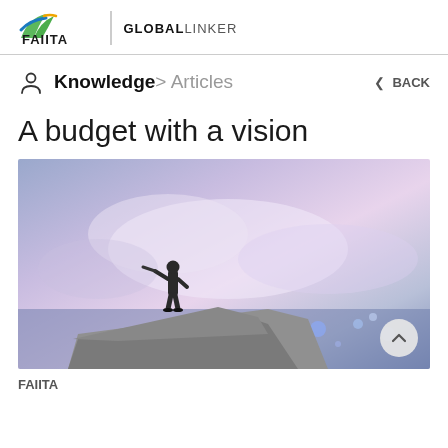FAIITA | GLOBALLINKER
Knowledge > Articles   BACK
A budget with a vision
[Figure (photo): A businessman in a suit standing on a rocky cliff edge, looking through a telescope/binoculars against a blurred cityscape and purple-blue sky background.]
FAIITA